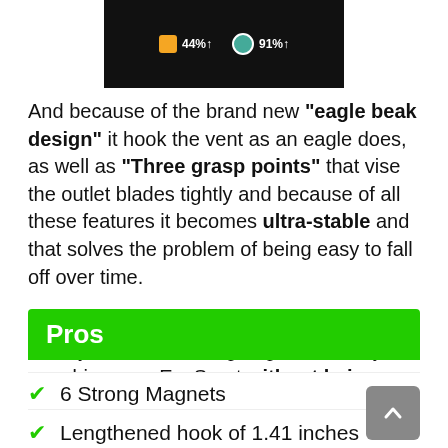[Figure (screenshot): App screenshot showing stats: orange badge 44%↑ and green badge 91%↑ on dark background]
And because of the brand new "eagle beak design" it hook the vent as an eagle does, as well as "Three grasp points" that vise the outlet blades tightly and because of all these features it becomes ultra-stable and that solves the problem of being easy to fall off over time.
Moreover, you can adjust the angles to meet your ideal viewing angles so that you can drive your EcoSport without being distract.
Pros
6 Strong Magnets
Lengthened hook of 1.41 inches